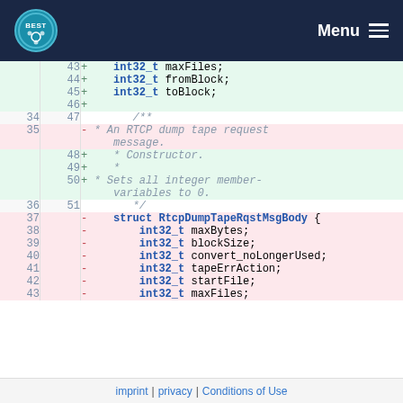BEST Menu
[Figure (screenshot): Code diff view showing additions (green) and removals (red) of C struct member fields. Lines 43-46 added (int32_t maxFiles, fromBlock, toBlock), line 35 removed comment about RTCP dump tape request message, lines 48-50 added constructor comment, lines 37-43 removed struct RtcpDumpTapeRqstMsgBody with fields maxBytes, blockSize, convert_noLongerUsed, tapeErrAction, startFile, maxFiles.]
imprint | privacy | Conditions of Use